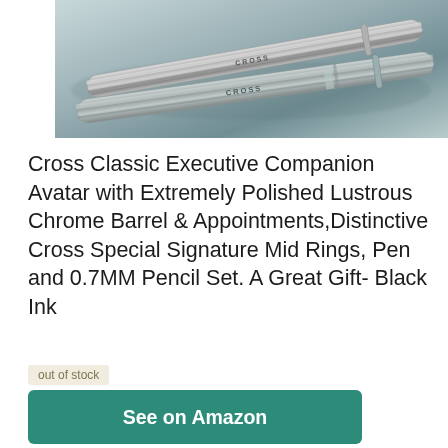[Figure (photo): Close-up photo of Cross branded pens/pencils in chrome finish on a gray-blue surface, with 'CROSS' text visible on barrel]
Cross Classic Executive Companion Avatar with Extremely Polished Lustrous Chrome Barrel & Appointments,Distinctive Cross Special Signature Mid Rings, Pen and 0.7MM Pencil Set. A Great Gift- Black Ink
out of stock
See on Amazon
Amazon.com
as of September 6, 2022 8:44 am
Feat...